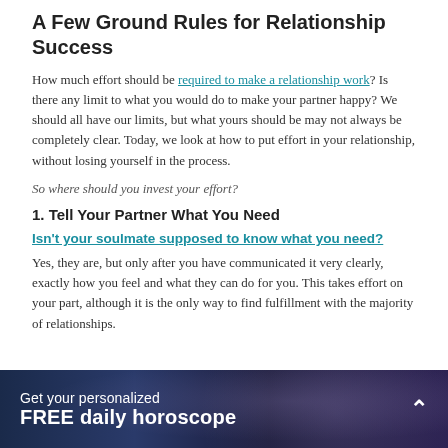A Few Ground Rules for Relationship Success
How much effort should be required to make a relationship work? Is there any limit to what you would do to make your partner happy? We should all have our limits, but what yours should be may not always be completely clear. Today, we look at how to put effort in your relationship, without losing yourself in the process.
So where should you invest your effort?
1. Tell Your Partner What You Need
Isn't your soulmate supposed to know what you need? Yes, they are, but only after you have communicated it very clearly, exactly how you feel and what they can do for you. This takes effort on your part, although it is the only way to find fulfillment with the majority of relationships.
Get your personalized FREE daily horoscope